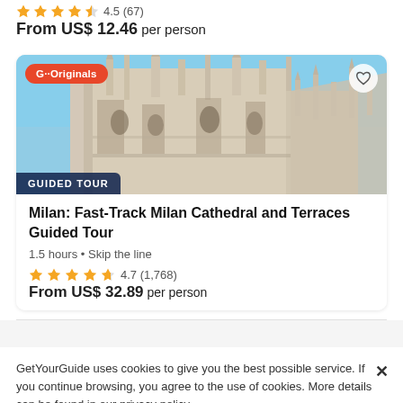4.5 (67)
From US$ 12.46 per person
[Figure (photo): Photo of Milan Cathedral (Duomo di Milano) facade with gothic spires against a blue sky, with a 'G··Originals' badge, heart icon, and 'GUIDED TOUR' label overlaid]
Milan: Fast-Track Milan Cathedral and Terraces Guided Tour
1.5 hours • Skip the line
4.7 (1,768)
From US$ 32.89 per person
GetYourGuide uses cookies to give you the best possible service. If you continue browsing, you agree to the use of cookies. More details can be found in our privacy policy.